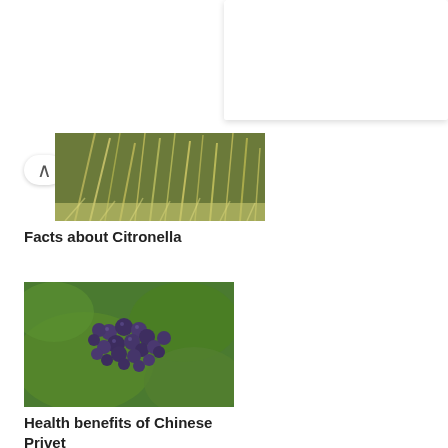[Figure (screenshot): CVS Pharmacy advertisement banner with CVS logo, text 'Photo Deals At CVS®' and 'CVS Photo']
[Figure (photo): Citronella grass plant with long thin green and light-colored blades]
Facts about Citronella
[Figure (photo): Cluster of small dark purple berries on Chinese Privet plant with green leaves]
Health benefits of Chinese Privet